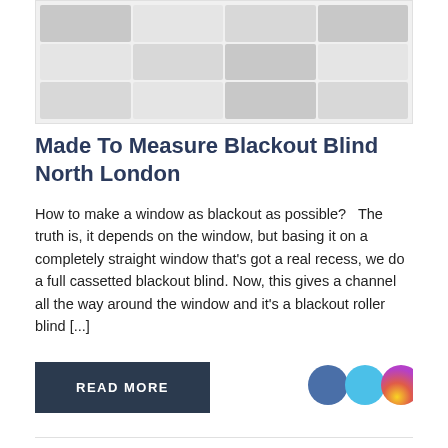[Figure (photo): Image placeholder showing a grid of gray cells representing a photo of blackout blinds]
Made To Measure Blackout Blind North London
How to make a window as blackout as possible?   The truth is, it depends on the window, but basing it on a completely straight window that's got a real recess, we do a full cassetted blackout blind. Now, this gives a channel all the way around the window and it's a blackout roller blind [...]
[Figure (illustration): READ MORE button and three social media circle icons (Facebook blue, Twitter light blue, Instagram gradient)]